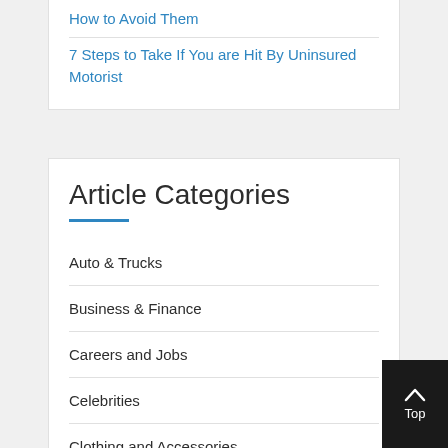How to Avoid Them
7 Steps to Take If You are Hit By Uninsured Motorist
Article Categories
Auto & Trucks
Business & Finance
Careers and Jobs
Celebrities
Clothing and Accessories